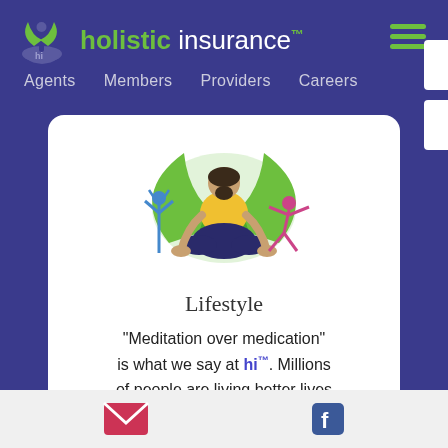holistic insurance™ — Agents Members Providers Careers
[Figure (illustration): Illustration of a person meditating in lotus position with large green leaves behind, and two smaller yoga figures on either side]
Lifestyle
"Meditation over medication" is what we say at hi™. Millions of people are living better lives and thriving. You can too. Meditation and other reflex therapies are  covered.
Email icon and Facebook icon